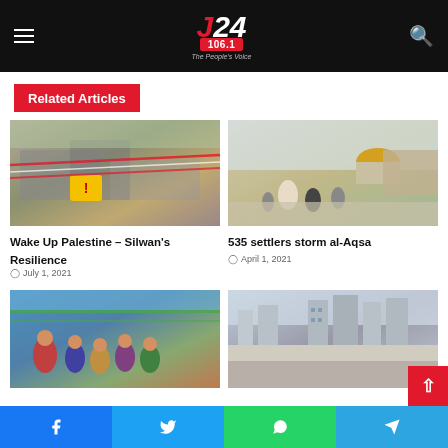J24 106.1 – The People's Voice
Related Articles
[Figure (photo): Rubble and debris from a demolished building with yellow warning sign and red-and-white tape]
Wake Up Palestine – Silwan's Resilience
July 1, 2021
[Figure (photo): People walking near the Dome of the Rock at Al-Aqsa Mosque compound]
535 settlers storm al-Aqsa
April 1, 2021
[Figure (photo): Group of children standing by a fence]
[Figure (photo): Aerial view of urban area with separation wall]
Facebook | Twitter | WhatsApp | Telegram